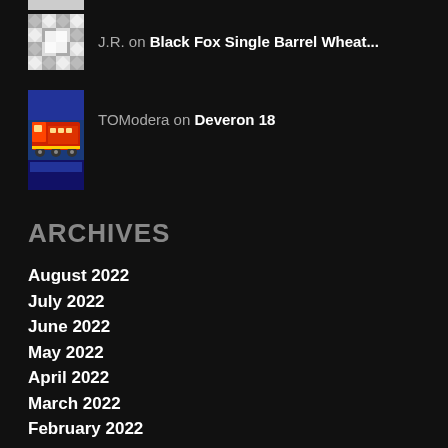[Figure (other): Partial top bar/thumbnail strip at very top of page]
J.R. on Black Fox Single Barrel Wheat...
[Figure (photo): Book cover thumbnail with colorful train/locomotive imagery]
TOModera on Deveron 18
ARCHIVES
August 2022
July 2022
June 2022
May 2022
April 2022
March 2022
February 2022
January 2022
December 2021